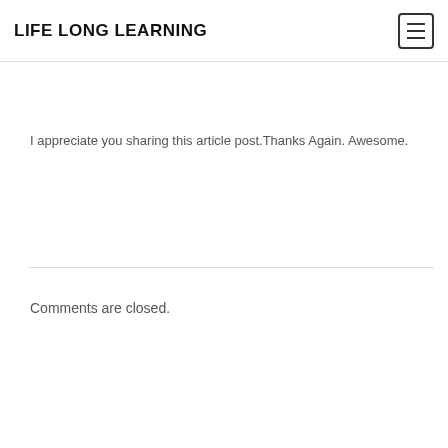LIFE LONG LEARNING
I appreciate you sharing this article post.Thanks Again. Awesome.
Comments are closed.
Comments are closed.
CONTACT ME ON MESSENGER